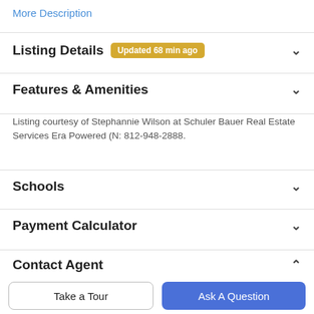More Description
Listing Details  Updated 68 min ago
Features & Amenities
Listing courtesy of Stephannie Wilson at Schuler Bauer Real Estate Services Era Powered (N: 812-948-2888.
Schools
Payment Calculator
Contact Agent
Take a Tour
Ask A Question